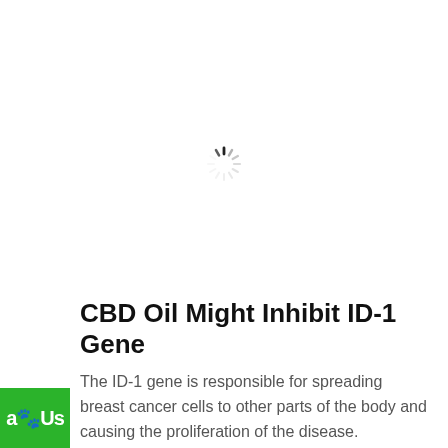[Figure (other): Loading spinner / activity indicator graphic in light gray]
CBD Oil Might Inhibit ID-1 Gene
The ID-1 gene is responsible for spreading breast cancer cells to other parts of the body and causing the proliferation of the disease. Research has shown